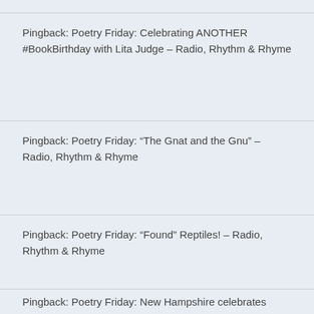Pingback: Poetry Friday: Celebrating ANOTHER #BookBirthday with Lita Judge – Radio, Rhythm & Rhyme
Pingback: Poetry Friday: “The Gnat and the Gnu” – Radio, Rhythm & Rhyme
Pingback: Poetry Friday: “Found” Reptiles! – Radio, Rhythm & Rhyme
Pingback: Poetry Friday: New Hampshire celebrates another new book release with David Elliott’s “The